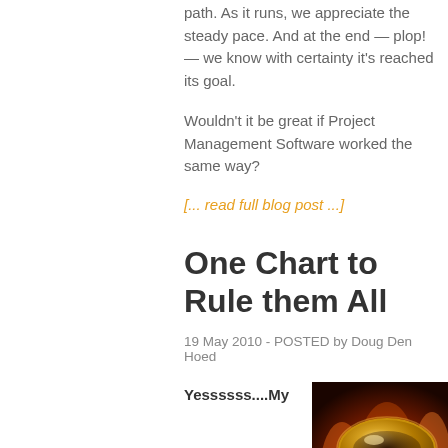path. As it runs, we appreciate the steady pace. And at the end — plop! — we know with certainty it's reached its goal.
Wouldn't it be great if Project Management Software worked the same way?
[... read full blog post ...]
One Chart to Rule them All
19 May 2010 - POSTED by Doug Den Hoed
Yessssss....My
[Figure (photo): A glowing golden ring on dark fiery background, resembling the One Ring from Lord of the Rings]